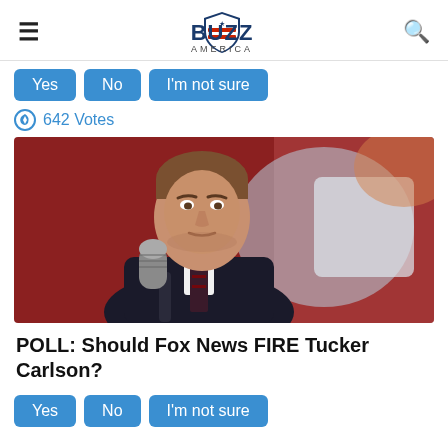BUZZ AMERICA
Yes | No | I'm not sure
642 Votes
[Figure (photo): Close-up photo of Tucker Carlson speaking into a microphone at an event, with a blurred red and blue background.]
POLL: Should Fox News FIRE Tucker Carlson?
Yes | No | I'm not sure